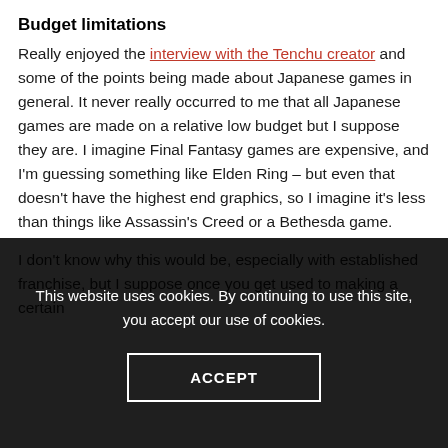Budget limitations
Really enjoyed the interview with the Tenchu creator and some of the points being made about Japanese games in general. It never really occurred to me that all Japanese games are made on a relative low budget but I suppose they are. I imagine Final Fantasy games are expensive, and I'm guessing something like Elden Ring – but even that doesn't have the highest end graphics, so I imagine it's less than things like Assassin's Creed or a Bethesda game.
I don't know why this would be, especially with established franchise, but I suppose once you get used to making a certain
This website uses cookies. By continuing to use this site, you accept our use of cookies.